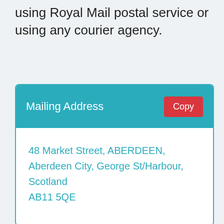using Royal Mail postal service or using any courier agency.
Mailing Address
48 Market Street, ABERDEEN,
Aberdeen City, George St/Harbour, Scotland
AB11 5QE